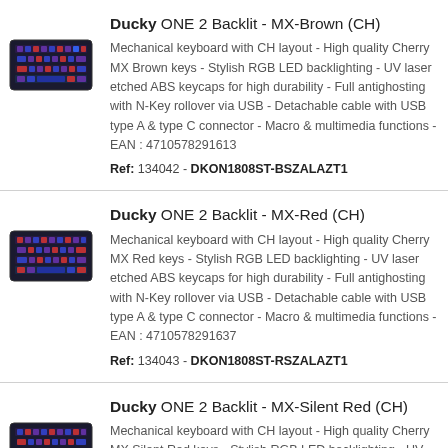Ducky ONE 2 Backlit - MX-Brown (CH)
Mechanical keyboard with CH layout - High quality Cherry MX Brown keys - Stylish RGB LED backlighting - UV laser etched ABS keycaps for high durability - Full antighosting with N-Key rollover via USB - Detachable cable with USB type A & type C connector - Macro & multimedia functions - EAN : 4710578291613
Ref: 134042 - DKON1808ST-BSZALAZT1
Ducky ONE 2 Backlit - MX-Red (CH)
Mechanical keyboard with CH layout - High quality Cherry MX Red keys - Stylish RGB LED backlighting - UV laser etched ABS keycaps for high durability - Full antighosting with N-Key rollover via USB - Detachable cable with USB type A & type C connector - Macro & multimedia functions - EAN : 4710578291637
Ref: 134043 - DKON1808ST-RSZALAZT1
Ducky ONE 2 Backlit - MX-Silent Red (CH)
Mechanical keyboard with CH layout - High quality Cherry MX Silent Red keys - Stylish RGB LED backlighting - UV laser etched ABS keycaps for high durability - Full anti-ghosting with N-Key rollover via USB